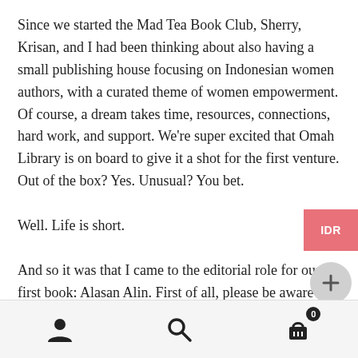Since we started the Mad Tea Book Club, Sherry, Krisan, and I had been thinking about also having a small publishing house focusing on Indonesian women authors, with a curated theme of women empowerment. Of course, a dream takes time, resources, connections, hard work, and support. We're super excited that Omah Library is on board to give it a shot for the first venture. Out of the box? Yes. Unusual? You bet.

Well. Life is short.

And so it was that I came to the editorial role for our first book: Alasan Alin. First of all, please be aware that the book is in Bahasa Indonesia. Lucky for me, Krisan is an excellent writer, so it makes things very easy. My
[Figure (other): IDR currency button (red/salmon colored rectangle)]
[Figure (other): Plus/add button (light grey circle with plus sign)]
[Figure (other): Scroll to top button (dark grey circle with upward chevron arrow)]
User icon, Search icon, Cart icon with badge showing 0